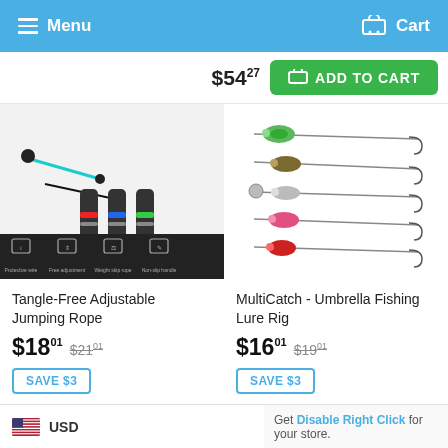Menu  Cart
$54.27  ADD TO CART
[Figure (photo): Tangle-Free Adjustable Jumping Rope product image with rope handles and feature icons (Protective wire, Free adjustment, Weight skip rope, Non-slip handle)]
[Figure (photo): MultiCatch Umbrella Fishing Lure Rig product image showing 5 colorful lures on wire arms]
Tangle-Free Adjustable Jumping Rope
MultiCatch - Umbrella Fishing Lure Rig
$18.01  $21.01
$16.01  $19.01
SAVE $3
SAVE $3
USD  Get Disable Right Click for your store.